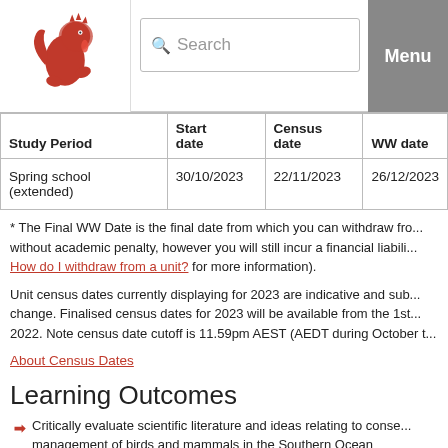Search | Menu
| Study Period | Start date | Census date | WW date |
| --- | --- | --- | --- |
| Spring school (extended) | 30/10/2023 | 22/11/2023 | 26/12/2023 |
* The Final WW Date is the final date from which you can withdraw from a unit without academic penalty, however you will still incur a financial liability (see How do I withdraw from a unit? for more information).
Unit census dates currently displaying for 2023 are indicative and subject to change. Finalised census dates for 2023 will be available from the 1st of 2022. Note census date cutoff is 11.59pm AEST (AEDT during October to
About Census Dates
Learning Outcomes
Critically evaluate scientific literature and ideas relating to conservation management of birds and mammals in the Southern Ocean
Understand trophic structure of the Southern Ocean ecosystem